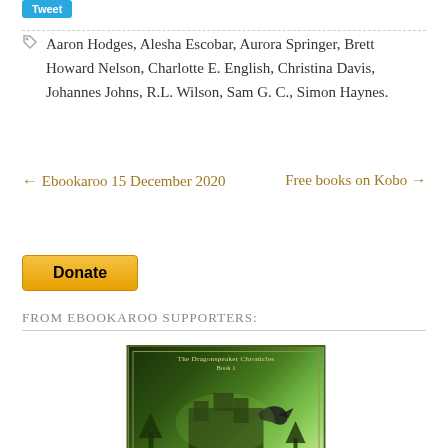Aaron Hodges, Alesha Escobar, Aurora Springer, Brett Howard Nelson, Charlotte E. English, Christina Davis, Johannes Johns, R.L. Wilson, Sam G. C., Simon Haynes.
← Ebookaroo 15 December 2020
Free books on Kobo →
[Figure (other): Donate button]
From Ebookaroo Supporters:
[Figure (illustration): Book cover for The Dragonspeaker Chronicles Book 1, showing a fantasy castle, dragon, and green magical background with ornate border.]